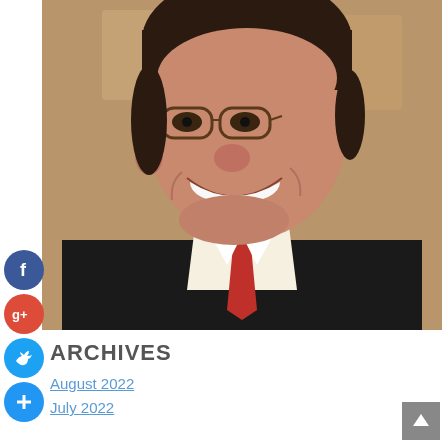[Figure (photo): Close-up photo of a smiling man wearing glasses, a dark suit jacket, white dress shirt, and a red tie. Background appears to have text/signage.]
[Figure (infographic): Column of three social media icon circles: Facebook (blue, f), Google Plus (red, g+), Twitter (blue, bird icon), and a Plus/add button (blue, +)]
ARCHIVES
August 2022
July 2022